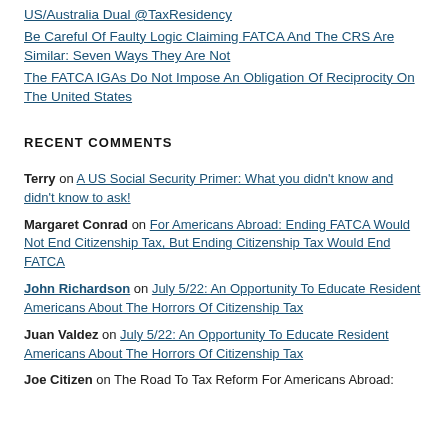US/Australia Dual @TaxResidency
Be Careful Of Faulty Logic Claiming FATCA And The CRS Are Similar: Seven Ways They Are Not
The FATCA IGAs Do Not Impose An Obligation Of Reciprocity On The United States
RECENT COMMENTS
Terry on A US Social Security Primer: What you didn't know and didn't know to ask!
Margaret Conrad on For Americans Abroad: Ending FATCA Would Not End Citizenship Tax, But Ending Citizenship Tax Would End FATCA
John Richardson on July 5/22: An Opportunity To Educate Resident Americans About The Horrors Of Citizenship Tax
Juan Valdez on July 5/22: An Opportunity To Educate Resident Americans About The Horrors Of Citizenship Tax
Joe Citizen on The Road To Tax Reform For Americans Abroad: